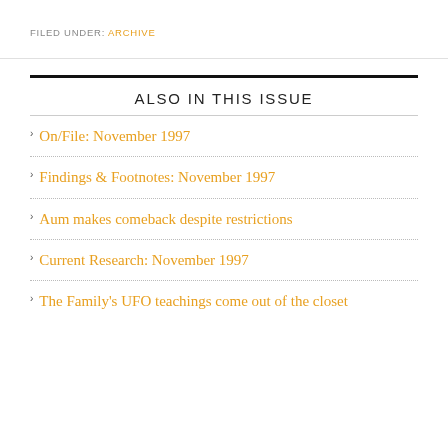FILED UNDER: ARCHIVE
ALSO IN THIS ISSUE
On/File: November 1997
Findings & Footnotes: November 1997
Aum makes comeback despite restrictions
Current Research: November 1997
The Family's UFO teachings come out of the closet